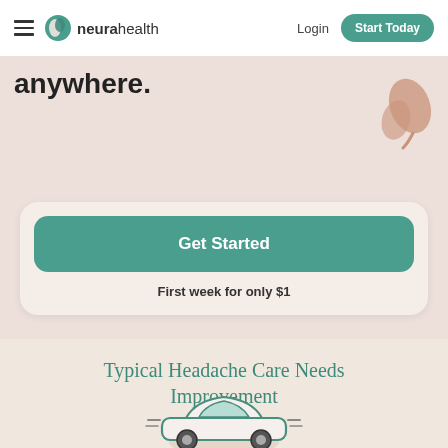neurahealth — Login | Start Today
anywhere.
[Figure (illustration): Decorative pink/mauve leaf/plant illustration in upper right of hero section]
Get Started
First week for only $1
Typical Headache Care Needs Improvement
[Figure (illustration): Simple line illustration of a car viewed from the side, with motion lines, colored in teal/green tones on a circular background]